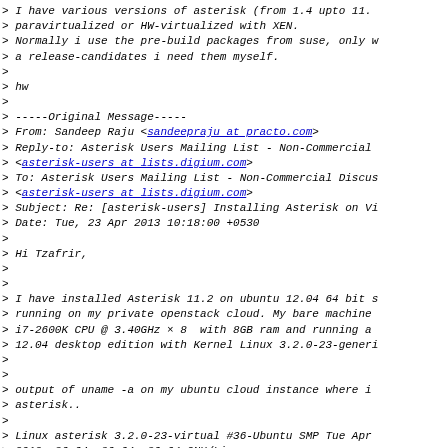> I have various versions of asterisk (from 1.4 upto 11.
> paravirtualized or HW-virtualized with XEN.
> Normally i use the pre-build packages from suse, only w
> a release-candidates i need them myself.
>
> hw
>
> -----Original Message-----
> From: Sandeep Raju <sandeepraju at practo.com>
> Reply-to: Asterisk Users Mailing List - Non-Commercial
> <asterisk-users at lists.digium.com>
> To: Asterisk Users Mailing List - Non-Commercial Discus
> <asterisk-users at lists.digium.com>
> Subject: Re: [asterisk-users] Installing Asterisk on Vi
> Date: Tue, 23 Apr 2013 10:18:00 +0530
>
> Hi Tzafrir,
>
>
> I have installed Asterisk 11.2 on ubuntu 12.04 64 bit s
> running on my private openstack cloud. My bare machine
> i7-2600K CPU @ 3.40GHz x 8 with 8GB ram and running a
> 12.04 desktop edition with Kernel Linux 3.2.0-23-generi
>
>
> output of uname -a on my ubuntu cloud instance where i
> asterisk..
>
> Linux asterisk 3.2.0-23-virtual #36-Ubuntu SMP Tue Apr
> 2012 x86_64 x86_64 x86_64 GNU/Linux